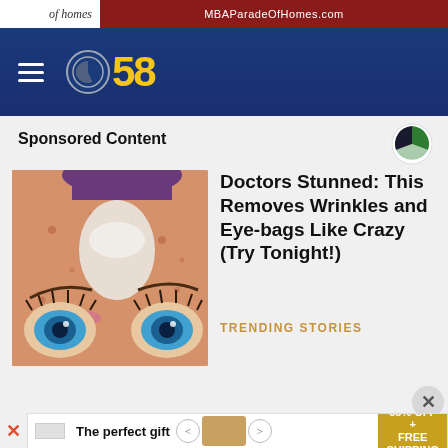[Figure (screenshot): Top advertisement banner: 'of homes' text on left, 'MBAParadeOfHomes.com' on dark red right]
CBS 58 navigation bar with hamburger menu and CBS 58 logo
Sponsored Content
[Figure (logo): Civic Science logo - circle with green and dark segments]
[Figure (illustration): Cartoon illustration of a face with blue eyes, freckles, skin being treated with a cream or garlic clove]
Doctors Stunned: This Removes Wrinkles and Eye-bags Like Crazy (Try Tonight!)
TRENDING STORIES
[Figure (screenshot): Bottom advertisement: 'The perfect gift' with carousel arrows, food/rice cooker image, and '35% OFF + FREE SHIPPING' gold badge]